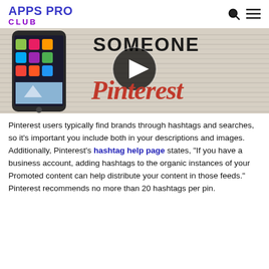APPS PRO CLUB
[Figure (screenshot): Video thumbnail showing a Pinterest promotional image with an iPhone on the left, bold text 'SOMEONE' at top, a play button circle in the center, and the Pinterest logo in red cursive script on the right side, on a newspaper-textured background.]
Pinterest users typically find brands through hashtags and searches, so it’s important you include both in your descriptions and images. Additionally, Pinterest’s hashtag help page states, “If you have a business account, adding hashtags to the organic instances of your Promoted content can help distribute your content in those feeds.” Pinterest recommends no more than 20 hashtags per pin.